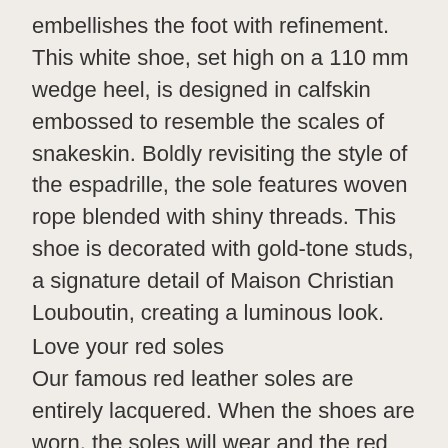embellishes the foot with refinement. This white shoe, set high on a 110 mm wedge heel, is designed in calfskin embossed to resemble the scales of snakeskin. Boldly revisiting the style of the espadrille, the sole features woven rope blended with shiny threads. This shoe is decorated with gold-tone studs, a signature detail of Maison Christian Louboutin, creating a luminous look.
Love your red soles
Our famous red leather soles are entirely lacquered. When the shoes are worn, the soles will wear and the red lacquer will naturally alter or even disappear on the surfaces in contact with the ground. All shoes must be tried on carpet. Our soles are very delicate and we cannot accept returns on shoes that appear to be worn or damaged. In order to durably preserve your product, we strongly recommend you consult a leather care professional for specific advice, however, do not make any alterations to the original product.
We offer an exchange or refund for Change of Mind on the following items within 30 days of purchase, with the exception